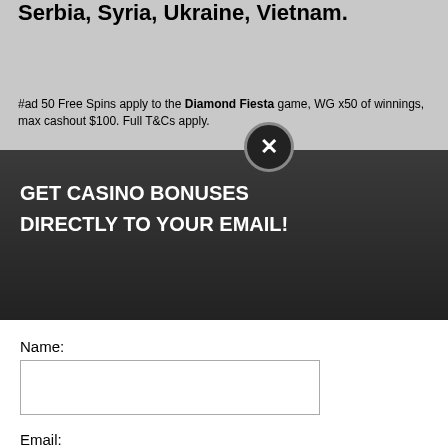Netherlands Antilles, Pakistan, Poland, Romania, Russia, Serbia, Syria, Ukraine, Vietnam.
#ad 50 Free Spins apply to the Diamond Fiesta game, WG x50 of winnings, max cashout $100. Full T&Cs apply.
NS NO DEPOSIT
[Figure (screenshot): Popup modal with dark header reading GET CASINO BONUSES DIRECTLY TO YOUR EMAIL! with a close X button, a white form body with Name and Email fields and a Submit button, and footer text about Privacy and Cookie policy.]
GET CASINO BONUSES DIRECTLY TO YOUR EMAIL!
Name:
Email:
Submit
By subscribing you are certifying that you have reviewed and accepted our updated Privacy and Cookie policy.
perience, we use Using this site, kie & privacy policy.
M